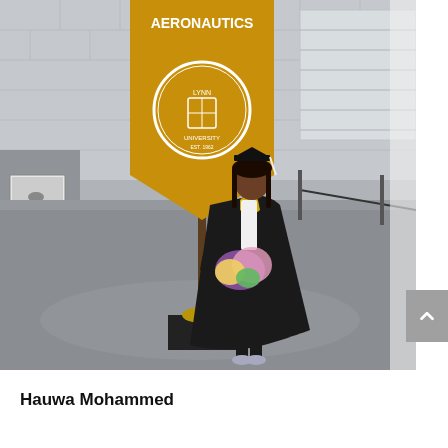[Figure (photo): A graduate in black cap and gown holding a bouquet of flowers stands next to a gold and white Lynn University Aeronautics banner on a pole in a large indoor venue with concrete floors and brick walls.]
Hauwa Mohammed